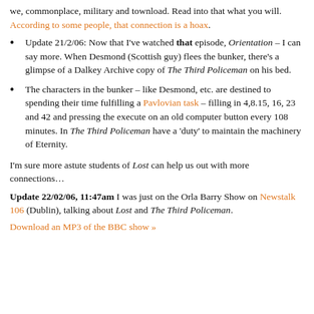we, commonplace, military and townload. Read into that what you will. According to some people, that connection is a hoax.
Update 21/2/06: Now that I've watched that episode, Orientation – I can say more. When Desmond (Scottish guy) flees the bunker, there's a glimpse of a Dalkey Archive copy of The Third Policeman on his bed.
The characters in the bunker – like Desmond, etc. are destined to spending their time fulfilling a Pavlovian task – filling in 4,8.15, 16, 23 and 42 and pressing the execute on an old computer button every 108 minutes. In The Third Policeman have a 'duty' to maintain the machinery of Eternity.
I'm sure more astute students of Lost can help us out with more connections…
Update 22/02/06, 11:47am I was just on the Orla Barry Show on Newstalk 106 (Dublin), talking about Lost and The Third Policeman.
Download an MP3 of the BBC show »